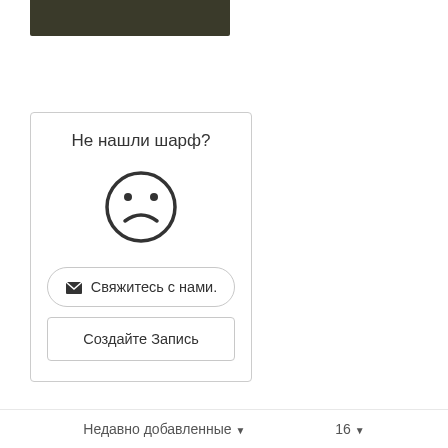[Figure (photo): Partial dark photo strip at top left showing a cropped image]
Не нашли шарф?
[Figure (illustration): Sad face emoji / frowning face icon in circle]
✉ Свяжитесь с нами.
Создайте Запись
Недавно добавленные ▼   16 ▼